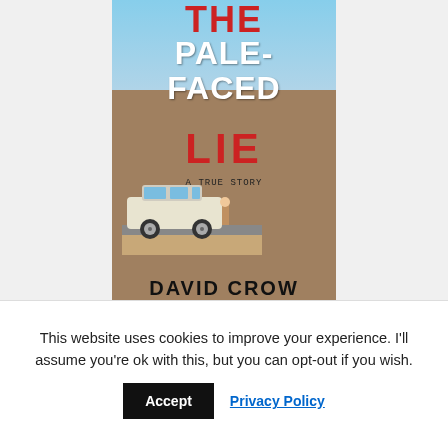[Figure (photo): Book cover of 'The Pale-Faced Lie: A True Story' by David Crow. Shows a vintage white station wagon parked on a desert road with a child standing beside it. Title text in large white and red handwritten-style letters. Author name at bottom.]
[Figure (photo): Partial second book cover showing 'NEW YORK TIMES BESTSELLER' and 'HOLLYWOOD' text on a light tan background.]
This website uses cookies to improve your experience. I'll assume you're ok with this, but you can opt-out if you wish.
Accept  Privacy Policy